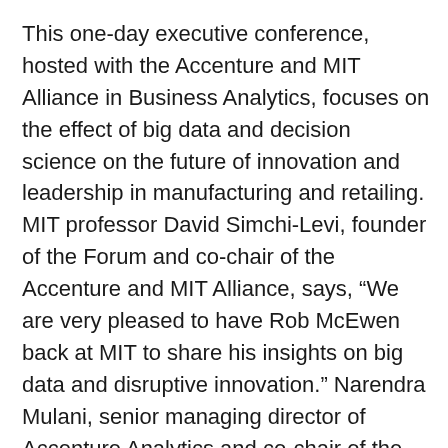This one-day executive conference, hosted with the Accenture and MIT Alliance in Business Analytics, focuses on the effect of big data and decision science on the future of innovation and leadership in manufacturing and retailing. MIT professor David Simchi-Levi, founder of the Forum and co-chair of the Accenture and MIT Alliance, says, “We are very pleased to have Rob McEwen back at MIT to share his insights on big data and disruptive innovation.” Narendra Mulani, senior managing director of Accenture Analytics and co-chair of the Accenture and MIT Alliance, says, “When looking for ways to turn big data into big outcomes, businesses can benefit greatly from teaming up with academia. We’re excited to discuss some of the key success factors